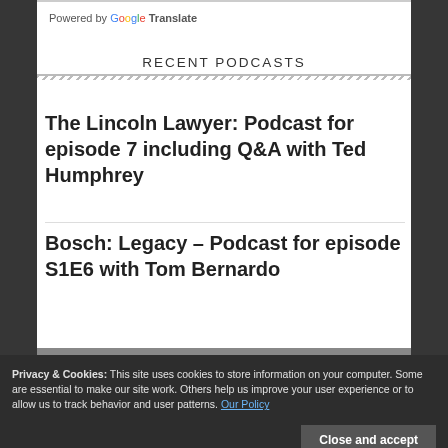Powered by Google Translate
RECENT PODCASTS
The Lincoln Lawyer: Podcast for episode 7 including Q&A with Ted Humphrey
Bosch: Legacy – Podcast for episode S1E6 with Tom Bernardo
Privacy & Cookies: This site uses cookies to store information on your computer. Some are essential to make our site work. Others help us improve your user experience or to allow us to track behavior and user patterns. Our Policy
episode 1 Chase Theory with Ted 
H...